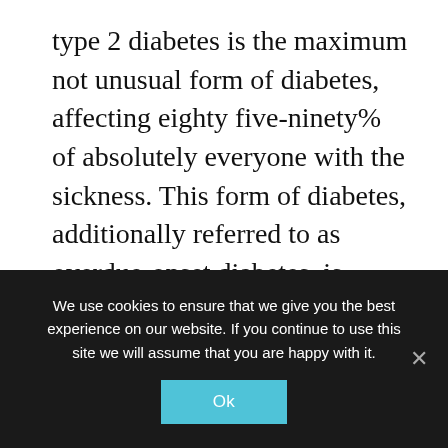type 2 diabetes is the maximum not unusual form of diabetes, affecting eighty five-ninety% of absolutely everyone with the sickness. This form of diabetes, additionally referred to as overdue-onset diabetes, is characterized by way of insulin resistance and relative insulin deficiency. The ailment is strongly genetic in starting place however lifestyle factors inclusive of extra weight, inactiveness, excessive blood pressure and bad food plan are essential threat elements for its development
We use cookies to ensure that we give you the best experience on our website. If you continue to use this site we will assume that you are happy with it.